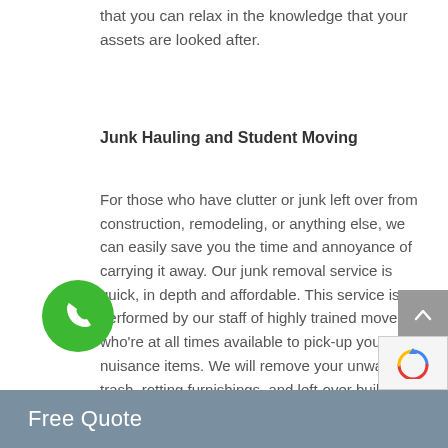that you can relax in the knowledge that your assets are looked after.
Junk Hauling and Student Moving
For those who have clutter or junk left over from construction, remodeling, or anything else, we can easily save you the time and annoyance of carrying it away. Our junk removal service is quick, in depth and affordable. This service is performed by our staff of highly trained movers, who're at all times available to pick-up your nuisance items. We will remove your unwanted trash, rotting furnishings, and left-over building materials. Take back treasured space making your property a lot more livable (as well as your neighbors much less irritated). Additionally we embark on specialized services including university student moves to colleges throughout the country
Free Quote